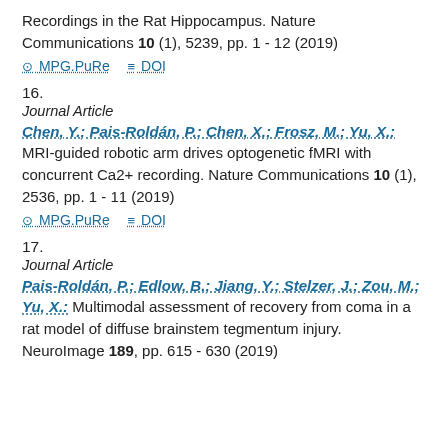Recordings in the Rat Hippocampus. Nature Communications 10 (1), 5239, pp. 1 - 12 (2019)
⊙ MPG.PuRe  ≡ DOI
16.
Journal Article
Chen, Y.; Pais-Roldán, P.; Chen, X.; Frosz, M.; Yu, X.: MRI-guided robotic arm drives optogenetic fMRI with concurrent Ca2+ recording. Nature Communications 10 (1), 2536, pp. 1 - 11 (2019)
⊙ MPG.PuRe  ≡ DOI
17.
Journal Article
Pais-Roldán, P.; Edlow, B.; Jiang, Y.; Stelzer, J.; Zou, M.; Yu, X.: Multimodal assessment of recovery from coma in a rat model of diffuse brainstem tegmentum injury. NeuroImage 189, pp. 615 - 630 (2019)